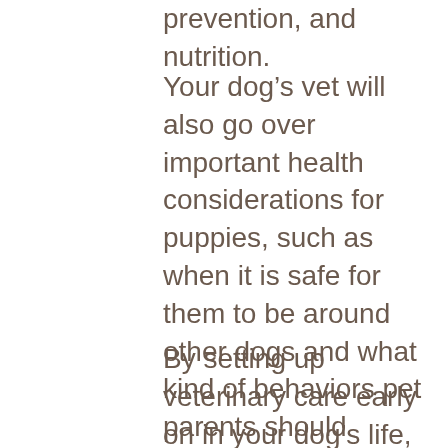prevention, and nutrition.
Your dog’s vet will also go over important health considerations for puppies, such as when it is safe for them to be around other dogs and what kind of behaviors pet parents should expect. These types of details are especially important for first-time puppy owners.
By setting up veterinary care early on in your dog’s life, you are protecting them from potentially dangerous (not to mention